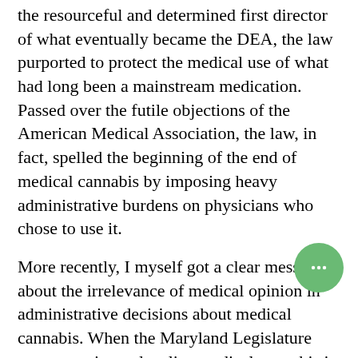the resourceful and determined first director of what eventually became the DEA, the law purported to protect the medical use of what had long been a mainstream medication. Passed over the futile objections of the American Medical Association, the law, in fact, spelled the beginning of the end of medical cannabis by imposing heavy administrative burdens on physicians who chose to use it.
More recently, I myself got a clear message about the irrelevance of medical opinion in administrative decisions about medical cannabis. When the Maryland Legislature was preparing to legalize medical cannabis in the state, they asked for MedChi, the state medical society of Maryland, to comment on the initial regulations. I was the person responsible for responding to this request and was